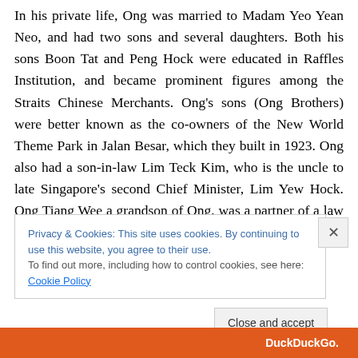In his private life, Ong was married to Madam Yeo Yean Neo, and had two sons and several daughters. Both his sons Boon Tat and Peng Hock were educated in Raffles Institution, and became prominent figures among the Straits Chinese Merchants. Ong's sons (Ong Brothers) were better known as the co-owners of the New World Theme Park in Jalan Besar, which they built in 1923. Ong also had a son-in-law Lim Teck Kim, who is the uncle to late Singapore's second Chief Minister, Lim Yew Hock. Ong Tiang Wee a grandson of Ong, was a partner of a law firm Laycock & Ong, and served as the president to the
Privacy & Cookies: This site uses cookies. By continuing to use this website, you agree to their use.
To find out more, including how to control cookies, see here: Cookie Policy
Close and accept
[Figure (screenshot): DuckDuckGo browser bar at bottom of page]